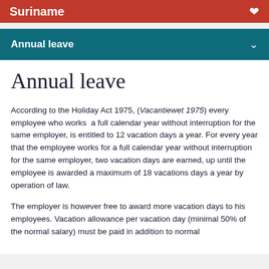Suriname
Annual leave
Annual leave
According to the Holiday Act 1975, (Vacantiewet 1975) every employee who works  a full calendar year without interruption for the same employer, is entitled to 12 vacation days a year. For every year that the employee works for a full calendar year without interruption for the same employer, two vacation days are earned, up until the employee is awarded a maximum of 18 vacations days a year by operation of law.
The employer is however free to award more vacation days to his employees. Vacation allowance per vacation day (minimal 50% of the normal salary) must be paid in addition to normal